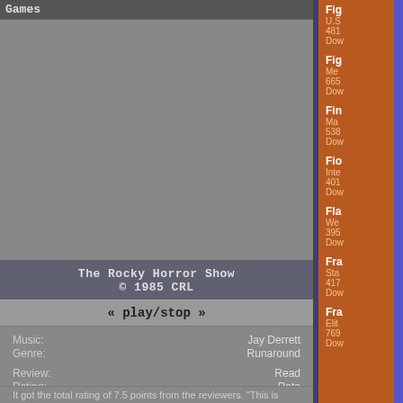Games
[Figure (screenshot): Game screenshot area - gray placeholder for The Rocky Horror Show game]
The Rocky Horror Show
© 1985 CRL
« play/stop »
Music: Jay Derrett
Genre: Runaround
Review: Read
Rating: Rate
Download: Game
Download: Rocky_Horror_Show.sid
Direct link: www.c64.com/games/225
It got the total rating of 7.5 points from the reviewers. "This is
Fig
U.S
481
Dow
Fig
Me
665
Dow
Fin
Ma
538
Dow
Fio
Inte
401
Dow
Fla
We
395
Dow
Fra
Sta
417
Dow
Fra
Elit
769
Dow